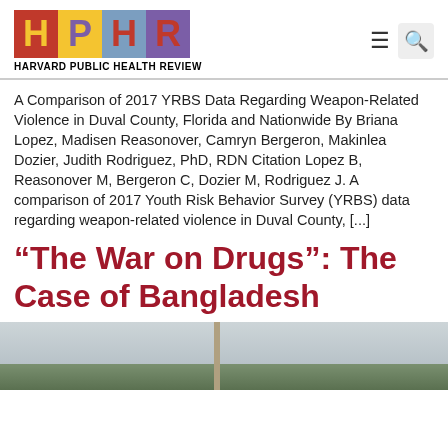[Figure (logo): HPHR Harvard Public Health Review logo with colored letter blocks H (red background, yellow letter), P (yellow background, purple letter), H (blue-gray background, red letter), R (purple background, red letter), with text HARVARD PUBLIC HEALTH REVIEW below]
A Comparison of 2017 YRBS Data Regarding Weapon-Related Violence in Duval County, Florida and Nationwide By Briana Lopez, Madisen Reasonover, Camryn Bergeron, Makinlea Dozier, Judith Rodriguez, PhD, RDN Citation Lopez B, Reasonover M, Bergeron C, Dozier M, Rodriguez J. A comparison of 2017 Youth Risk Behavior Survey (YRBS) data regarding weapon-related violence in Duval County, [...]
“The War on Drugs”: The Case of Bangladesh
[Figure (photo): Outdoor photograph showing a sky with clouds and green landscape with a pole or monument in the center]